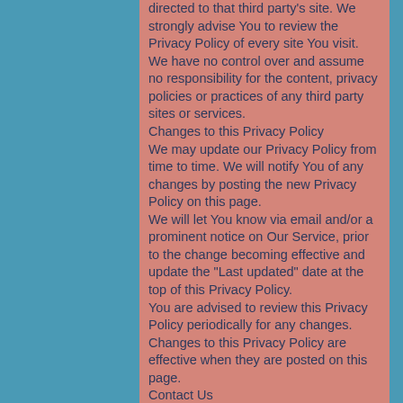directed to that third party's site. We strongly advise You to review the Privacy Policy of every site You visit.
We have no control over and assume no responsibility for the content, privacy policies or practices of any third party sites or services.
Changes to this Privacy Policy
We may update our Privacy Policy from time to time. We will notify You of any changes by posting the new Privacy Policy on this page.
We will let You know via email and/or a prominent notice on Our Service, prior to the change becoming effective and update the "Last updated" date at the top of this Privacy Policy.
You are advised to review this Privacy Policy periodically for any changes. Changes to this Privacy Policy are effective when they are posted on this page.
Contact Us
If you have any questions about this